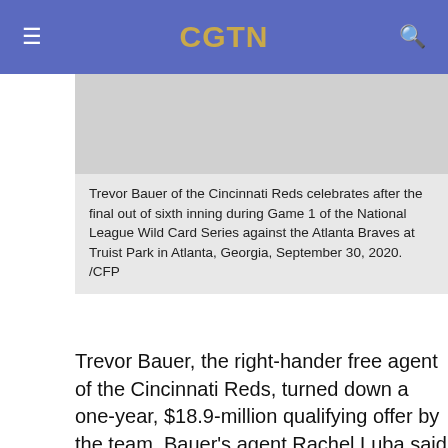CGTN
[Figure (photo): Gray placeholder image area for a photo of Trevor Bauer]
Trevor Bauer of the Cincinnati Reds celebrates after the final out of sixth inning during Game 1 of the National League Wild Card Series against the Atlanta Braves at Truist Park in Atlanta, Georgia, September 30, 2020. /CFP
Trevor Bauer, the right-hander free agent of the Cincinnati Reds, turned down a one-year, $18.9-million qualifying offer by the team, Bauer's agent Rachel Luba said on Twitter.
Bauer was traded to the Reds by the Cleveland Indians in 2019 but he struggled in the following couple of months. During